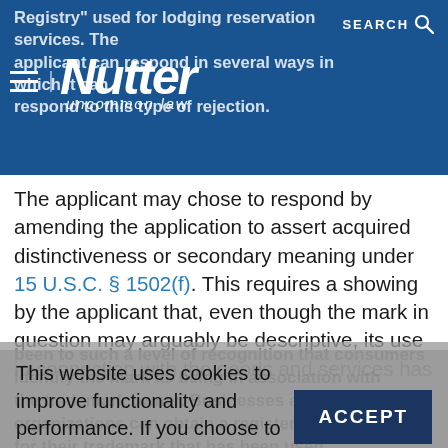Registry used for lodging reservation services. The applicant can respond in several ways in which it can respond to this type of rejection.
[Figure (logo): Nutter law firm logo with hamburger menu icon and SEARCH icon on blue header bar. Logo reads 'Nutter' in large white italic bold font with tagline 'uncommon law' in smaller italic text.]
The applicant may chose to respond by amending the application to assert acquired distinctiveness or secondary meaning under 15 U.S.C. § 1502(f). This requires a showing by the applicant that, even though the mark in question may arguably be descriptive, its use in connection with the goods and services has
This website uses cookies to improve functionality and performance. If you choose to continue browsing this website, you consent to the use of cookies.